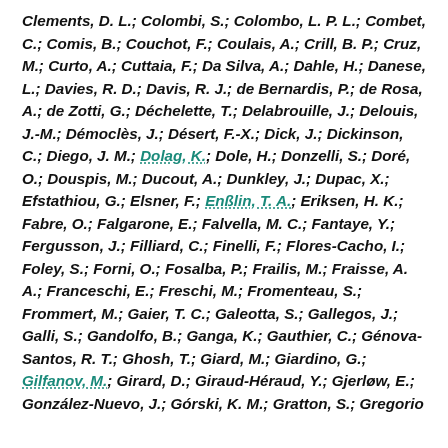Clements, D. L.; Colombi, S.; Colombo, L. P. L.; Combet, C.; Comis, B.; Couchot, F.; Coulais, A.; Crill, B. P.; Cruz, M.; Curto, A.; Cuttaia, F.; Da Silva, A.; Dahle, H.; Danese, L.; Davies, R. D.; Davis, R. J.; de Bernardis, P.; de Rosa, A.; de Zotti, G.; Déchelette, T.; Delabrouille, J.; Delouis, J.-M.; Démoclès, J.; Désert, F.-X.; Dick, J.; Dickinson, C.; Diego, J. M.; Dolag, K.; Dole, H.; Donzelli, S.; Doré, O.; Douspis, M.; Ducout, A.; Dunkley, J.; Dupac, X.; Efstathiou, G.; Elsner, F.; Enßlin, T. A.; Eriksen, H. K.; Fabre, O.; Falgarone, E.; Falvella, M. C.; Fantaye, Y.; Fergusson, J.; Filliard, C.; Finelli, F.; Flores-Cacho, I.; Foley, S.; Forni, O.; Fosalba, P.; Frailis, M.; Fraisse, A. A.; Franceschi, E.; Freschi, M.; Fromenteau, S.; Frommert, M.; Gaier, T. C.; Galeotta, S.; Gallegos, J.; Galli, S.; Gandolfo, B.; Ganga, K.; Gauthier, C.; Génova-Santos, R. T.; Ghosh, T.; Giard, M.; Giardino, G.; Gilfanov, M.; Girard, D.; Giraud-Héraud, Y.; Gjerløw, E.; González-Nuevo, J.; Górski, K. M.; Gratton, S.; Gregorio